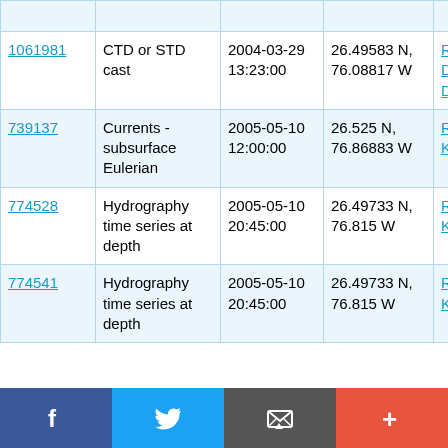| ID | Type | Date/Time | Location | Cruise |
| --- | --- | --- | --- | --- |
| 1061981 | CTD or STD cast | 2004-03-29 13:23:00 | 26.49583 N, 76.08817 W | RRS Discovery D278 |
| 739137 | Currents - subsurface Eulerian | 2005-05-10 12:00:00 | 26.525 N, 76.86883 W | RV Knorr KN182_2 |
| 774528 | Hydrography time series at depth | 2005-05-10 20:45:00 | 26.49733 N, 76.815 W | RV Knorr KN182_2 |
| 774541 | Hydrography time series at depth | 2005-05-10 20:45:00 | 26.49733 N, 76.815 W | RV Knorr KN182_2 |